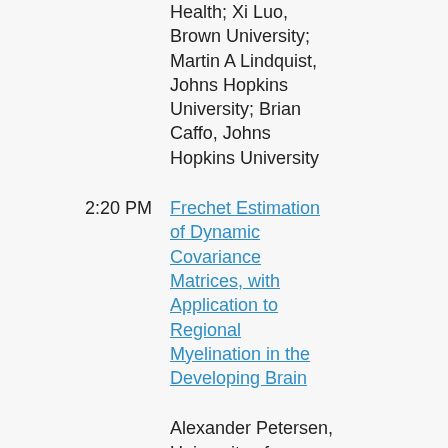Health; Xi Luo, Brown University; Martin A Lindquist, Johns Hopkins University; Brian Caffo, Johns Hopkins University
2:20 PM
Frechet Estimation of Dynamic Covariance Matrices, with Application to Regional Myelination in the Developing Brain
Alexander Petersen, University of California, Santa